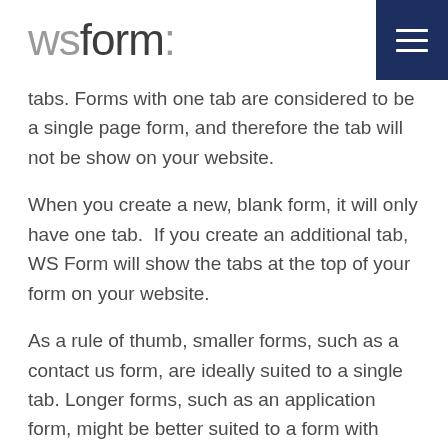wsform:
tabs. Forms with one tab are considered to be a single page form, and therefore the tab will not be show on your website.
When you create a new, blank form, it will only have one tab.  If you create an additional tab, WS Form will show the tabs at the top of your form on your website.
As a rule of thumb, smaller forms, such as a contact us form, are ideally suited to a single tab. Longer forms, such as an application form, might be better suited to a form with multiple tabs.